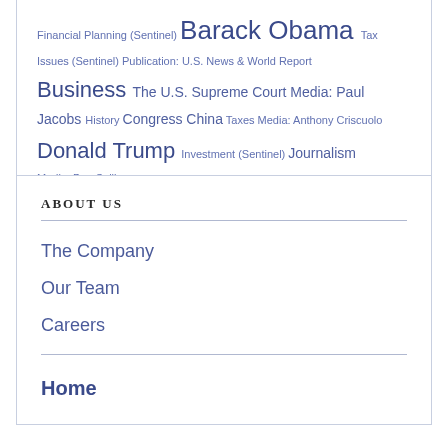Financial Planning (Sentinel) Barack Obama Tax Issues (Sentinel) Publication: U.S. News & World Report Business The U.S. Supreme Court Media: Paul Jacobs History Congress China Taxes Media: Anthony Criscuolo Donald Trump Investment (Sentinel) Journalism Media: Ben Sullivan
ABOUT US
The Company
Our Team
Careers
Home